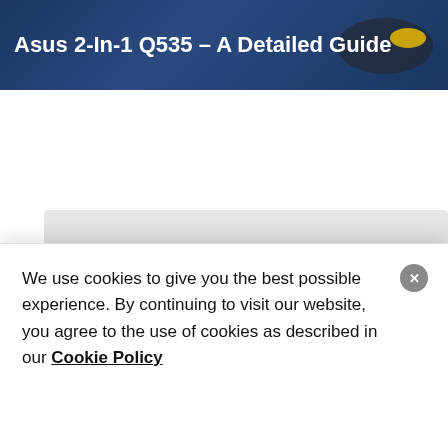Asus 2-In-1 Q535 – A Detailed Guide
[Figure (screenshot): Blurred card area with gradient gray background representing a secondary article card]
GADGETS
July 13, 2022
Macbook 12in M7 – Specifications And
We use cookies to give you the best possible experience. By continuing to visit our website, you agree to the use of cookies as described in our Cookie Policy